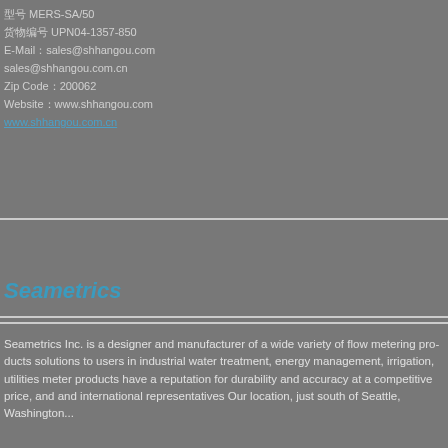型号 MERS-SA/50
货物编号 UPN04-1357-850
E-Mail：sales@shhangou.com
sales@shhangou.com.cn
Zip Code：200062
Website：www.shhangou.com
www.shhangou.com.cn
Seametrics
Seametrics Inc. is a designer and manufacturer of a wide variety of flow metering products solutions to users in industrial water treatment, energy management, irrigation, utilities meter products have a reputation for durability and accuracy at a competitive price, and international representatives Our location, just south of Seattle, Washing...